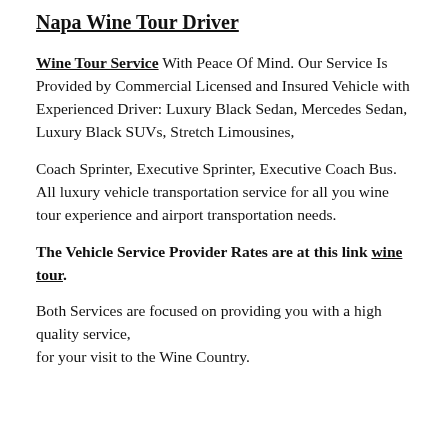Napa Wine Tour Driver
Wine Tour Service With Peace Of Mind. Our Service Is Provided by Commercial Licensed and Insured Vehicle with Experienced Driver: Luxury Black Sedan, Mercedes Sedan, Luxury Black SUVs, Stretch Limousines,
Coach Sprinter, Executive Sprinter, Executive Coach Bus. All luxury vehicle transportation service for all you wine tour experience and airport transportation needs.
The Vehicle Service Provider Rates are at this link wine tour.
Both Services are focused on providing you with a high quality service,
for your visit to the Wine Country.